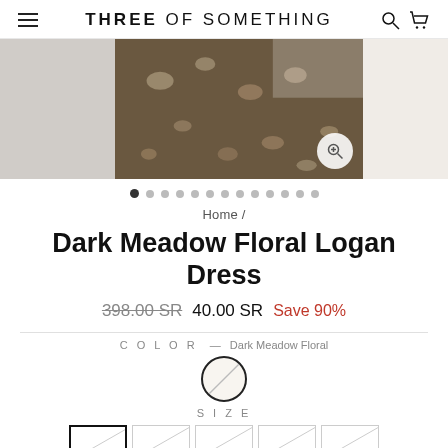THREE OF SOMETHING — navigation header with hamburger menu, logo, search and cart icons
[Figure (photo): Product image of Dark Meadow Floral Logan Dress showing floral fabric detail, cropped view with zoom icon]
● · · · · · · · · · · · ·  (image carousel dots, 13 total, first active)
Home /
Dark Meadow Floral Logan Dress
398.00 SR  40.00 SR  Save 90%
COLOR — Dark Meadow Floral
[Figure (illustration): Color swatch circle for Dark Meadow Floral color, outlined circle with diagonal slash]
SIZE
[Figure (illustration): Size selector buttons, first button selected (outlined with black border), followed by 4 unselected size buttons with diagonal slash marks]